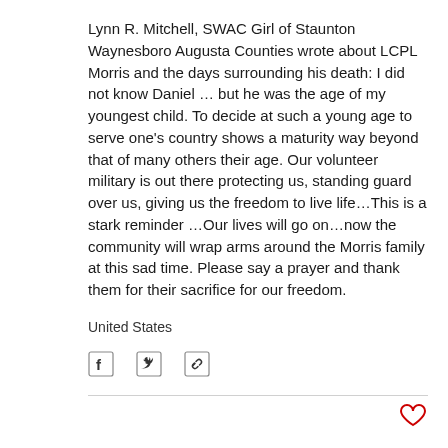Lynn R. Mitchell, SWAC Girl of Staunton Waynesboro Augusta Counties wrote about LCPL Morris and the days surrounding his death: I did not know Daniel … but he was the age of my youngest child. To decide at such a young age to serve one's country shows a maturity way beyond that of many others their age. Our volunteer military is out there protecting us, standing guard over us, giving us the freedom to live life…This is a stark reminder …Our lives will go on…now the community will wrap arms around the Morris family at this sad time. Please say a prayer and thank them for their sacrifice for our freedom.
United States
[Figure (other): Social sharing icons: Facebook share button, Twitter share button, and link/copy share button]